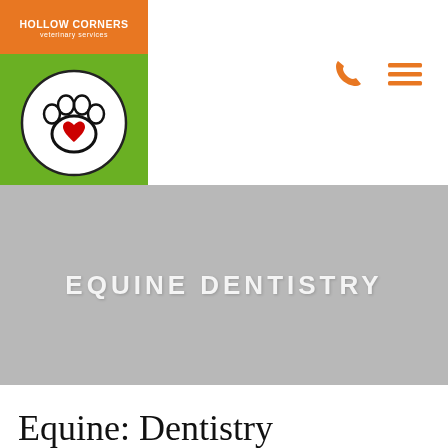[Figure (logo): Hollow Corners Veterinary Services logo with orange top bar showing brand name, green bottom section with white circle containing a paw print and red heart]
[Figure (other): Orange phone icon and orange hamburger menu icon for navigation]
EQUINE DENTISTRY
Equine: Dentistry
One of the most important parts of responsible equine ownership is caring for